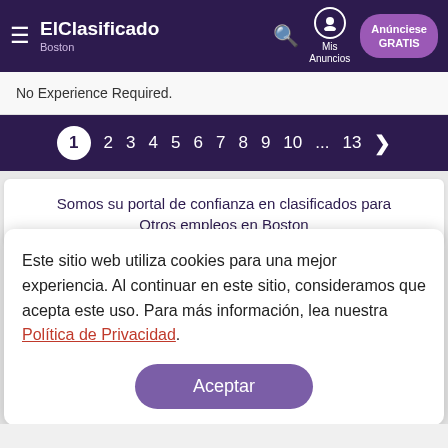ElClasificado Boston — Mis Anuncios — Anúnciese GRATIS
No Experience Required.
1 2 3 4 5 6 7 8 9 10 ... 13 >
Somos su portal de confianza en clasificados para Otros empleos en Boston
Este sitio web utiliza cookies para una mejor experiencia. Al continuar en este sitio, consideramos que acepta este uso. Para más información, lea nuestra Política de Privacidad.
Aceptar